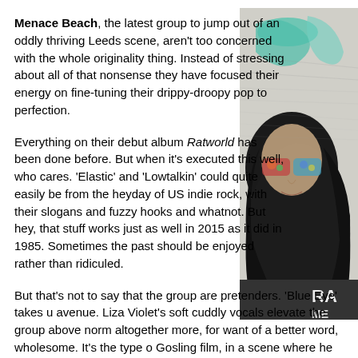Menace Beach, the latest group to jump out of an oddly thriving Leeds scene, aren't too concerned with the whole originality thing. Instead of stressing about all of that nonsense they have focused their energy on fine-tuning their drippy-droopy pop to perfection.
Everything on their debut album Ratworld has been done before. But when it's executed this well, who cares. 'Elastic' and 'Lowtalkin' could quite easily be from the heyday of US indie rock, with their slogans and fuzzy hooks and whatnot. But hey, that stuff works just as well in 2015 as it did in 1985. Sometimes the past should be enjoyed rather than ridiculed.
[Figure (photo): Album cover art for Ratworld by Menace Beach — black and white photo of a person with dark hair wearing mirrored/kaleidoscopic sunglasses, with illustrated teal/turquoise organic shapes in the background. Partial text 'RA' and 'ME' visible on clothing.]
But that's not to say that the group are pretenders. 'Blue Eye' takes u avenue. Liza Violet's soft cuddly vocals elevate the group above norm altogether more, for want of a better word, wholesome. It's the type o Gosling film, in a scene where he mumbles something deep and mea woman. It's pretty glorious stuff, really.